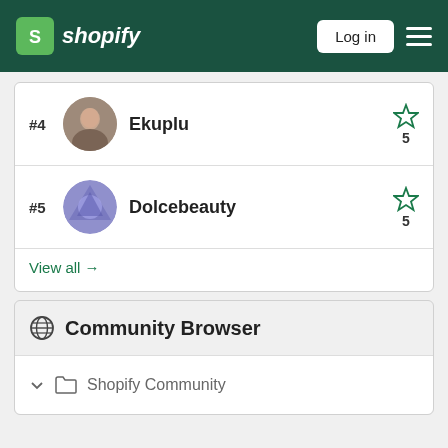Shopify — Log in
#4  Ekuplu  ★ 5
#5  Dolcebeauty  ★ 5
View all →
Community Browser
Shopify Community